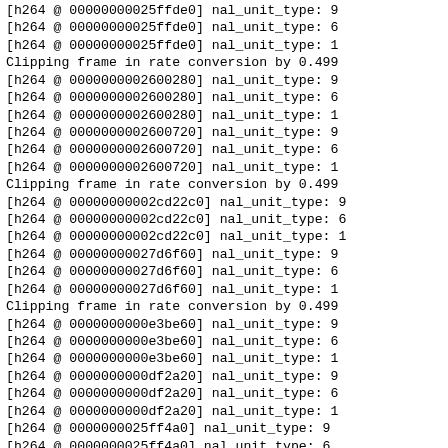[h264 @ 00000000025ffde0] nal_unit_type: 9
[h264 @ 00000000025ffde0] nal_unit_type: 6
[h264 @ 00000000025ffde0] nal_unit_type: 1
Clipping frame in rate conversion by 0.499
[h264 @ 0000000002600280] nal_unit_type: 9
[h264 @ 0000000002600280] nal_unit_type: 6
[h264 @ 0000000002600280] nal_unit_type: 1
[h264 @ 0000000002600720] nal_unit_type: 9
[h264 @ 0000000002600720] nal_unit_type: 6
[h264 @ 0000000002600720] nal_unit_type: 1
Clipping frame in rate conversion by 0.499
[h264 @ 00000000002cd22c0] nal_unit_type: 9
[h264 @ 00000000002cd22c0] nal_unit_type: 6
[h264 @ 00000000002cd22c0] nal_unit_type: 1
[h264 @ 00000000027d6f60] nal_unit_type: 9
[h264 @ 00000000027d6f60] nal_unit_type: 6
[h264 @ 00000000027d6f60] nal_unit_type: 1
Clipping frame in rate conversion by 0.499
[h264 @ 0000000000e3be60] nal_unit_type: 9
[h264 @ 0000000000e3be60] nal_unit_type: 6
[h264 @ 0000000000e3be60] nal_unit_type: 1
[h264 @ 0000000000df2a20] nal_unit_type: 9
[h264 @ 0000000000df2a20] nal_unit_type: 6
[h264 @ 0000000000df2a20] nal_unit_type: 1
[h264 @ 0000000025ff4a0] nal_unit_type: 9
[h264 @ 0000000025ff4a0] nal_unit_type: 6
Clipping frame in rate conversion by 0.499
[h264 @ 0000000025ff4a0] nal_unit_type: 1
[h264 @ 0000000025ff940] nal_unit_type: 9
[h264 @ 0000000025ff940] nal_unit_type: 6
[h264 @ 0000000025ff940] nal_unit_type: 1